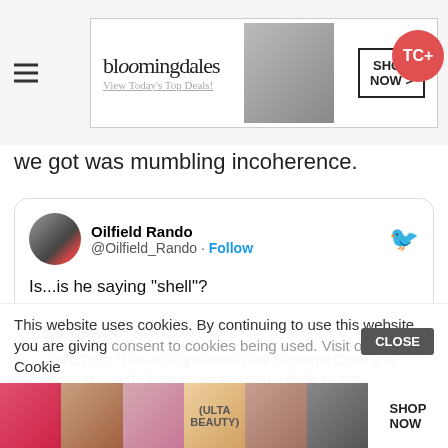[Figure (screenshot): Bloomingdale's advertisement banner: logo, 'View Today's Top Deals!', model with hat, 'SHOP NOW >' button]
we got was mumbling incoherence.
[Figure (screenshot): Embedded tweet from @Oilfield_Rando asking 'Is...is he saying "shell"?' with a nested CSPAN tweet quoting POTUS: '.@POTUS: "I am disappointed in the Supreme Court gun decision. … I think it's a bad decision. I think it's not reasoned accurately."']
This website uses cookies. By continuing to use this website you are giving consent to cookies being used. Visit our Priv... Cookie
[Figure (screenshot): Ulta Beauty advertisement banner at the bottom of the page with makeup imagery and 'SHOP NOW' button]